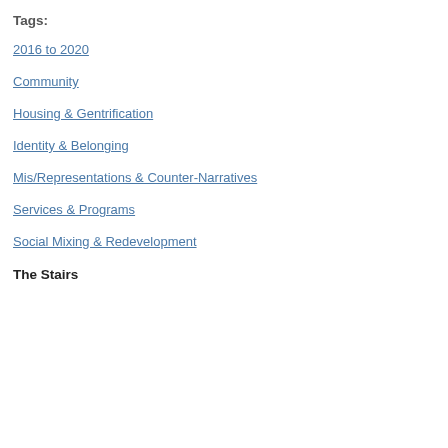Tags:
2016 to 2020
Community
Housing & Gentrification
Identity & Belonging
Mis/Representations & Counter-Narratives
Services & Programs
Social Mixing & Redevelopment
The Stairs